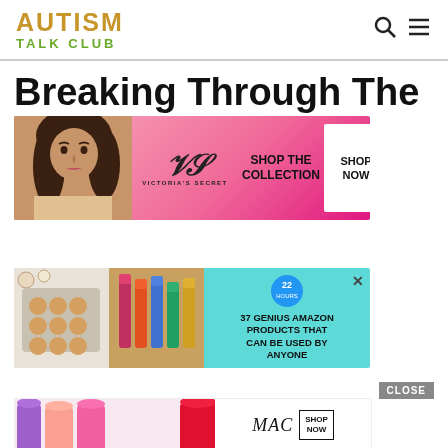AUTISM TALK CLUB
Breaking Through The Barriers Of Asd
[Figure (illustration): Victoria's Secret advertisement banner with woman model, VS logo, 'SHOP THE COLLECTION' text, and 'SHOP NOW' button on pink gradient background]
[Figure (illustration): Amazon advertisement on teal background with photos of baked goods and cosmetics products, '22' badge, text '37 GENIUS AMAZON PRODUCTS THAT CAN BE USED BY ANYONE']
[Figure (illustration): MAC cosmetics advertisement with colorful lipsticks, MAC logo, and 'SHOP NOW' button, with CLOSE button above]